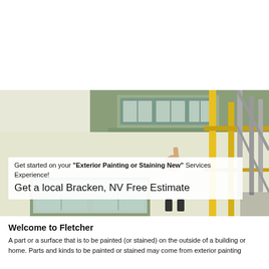[Figure (photo): Photo of a person painting the exterior of a house, standing near yellow scaffolding. The house has green trim around the windows and a textured cream/white stucco exterior wall.]
Get started on your "Exterior Painting or Staining New" Services Experience! Get a local Bracken, NV Free Estimate
Welcome to Fletcher
A part or a surface that is to be painted (or stained) on the outside of a building or home. Parts and kinds to be painted or stained may come from exterior painting